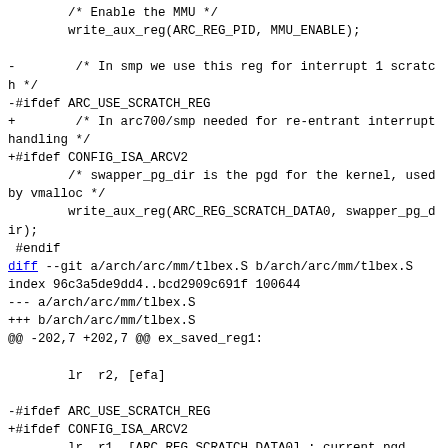/* Enable the MMU */
        write_aux_reg(ARC_REG_PID, MMU_ENABLE);

-        /* In smp we use this reg for interrupt 1 scratch */
-#ifdef ARC_USE_SCRATCH_REG
+        /* In arc700/smp needed for re-entrant interrupt handling */
+#ifdef CONFIG_ISA_ARCV2
        /* swapper_pg_dir is the pgd for the kernel, used by vmalloc */
        write_aux_reg(ARC_REG_SCRATCH_DATA0, swapper_pg_dir);
 #endif
diff --git a/arch/arc/mm/tlbex.S b/arch/arc/mm/tlbex.S
index 96c3a5de9dd4..bcd2909c691f 100644
--- a/arch/arc/mm/tlbex.S
+++ b/arch/arc/mm/tlbex.S
@@ -202,7 +202,7 @@ ex_saved_reg1:

        lr  r2, [efa]

-#ifdef ARC_USE_SCRATCH_REG
+#ifdef CONFIG_ISA_ARCV2
        lr  r1, [ARC_REG_SCRATCH_DATA0] ; current pgd
 #else
        GET_CURR_TASK_ON_CPU  r1
--
2.25.1